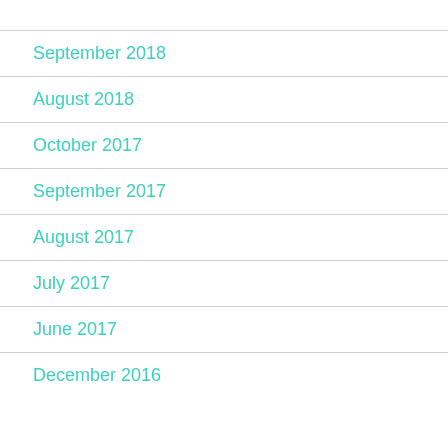September 2018
August 2018
October 2017
September 2017
August 2017
July 2017
June 2017
December 2016